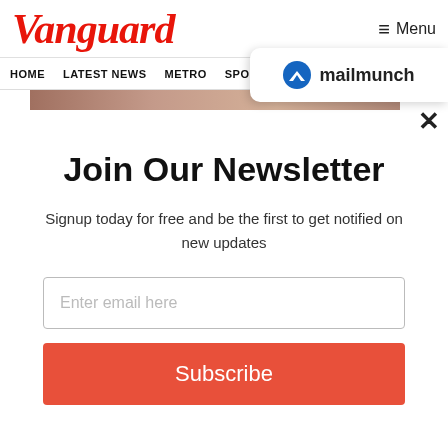Vanguard
≡ Menu
HOME  LATEST NEWS  METRO  SPORTS  ENTERTAINMENT  VIDEOS
[Figure (logo): Mailmunch logo badge with blue M icon and text mailmunch]
Join Our Newsletter
Signup today for free and be the first to get notified on new updates
Enter email here
Subscribe